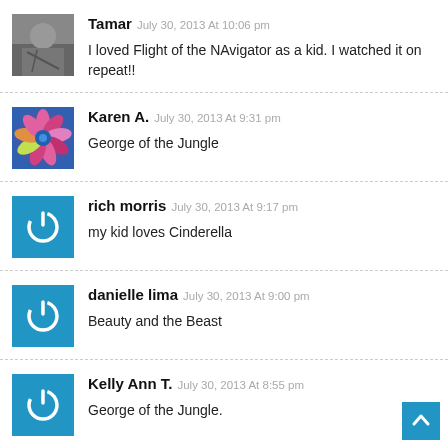Tamar July 30, 2013 At 10:06 pm — I loved Flight of the NAvigator as a kid. I watched it on repeat!!
Karen A. July 30, 2013 At 9:31 pm — George of the Jungle
rich morris July 30, 2013 At 9:17 pm — my kid loves Cinderella
danielle lima July 30, 2013 At 9:00 pm — Beauty and the Beast
Kelly Ann T. July 30, 2013 At 8:55 pm — George of the Jungle.